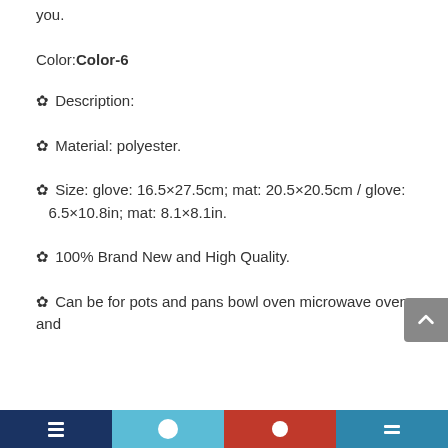you.
Color:Color-6
✿ Description:
✿ Material: polyester.
✿ Size: glove: 16.5×27.5cm; mat: 20.5×20.5cm / glove: 6.5×10.8in; mat: 8.1×8.1in.
✿ 100% Brand New and High Quality.
✿ Can be for pots and pans bowl oven microwave oven and